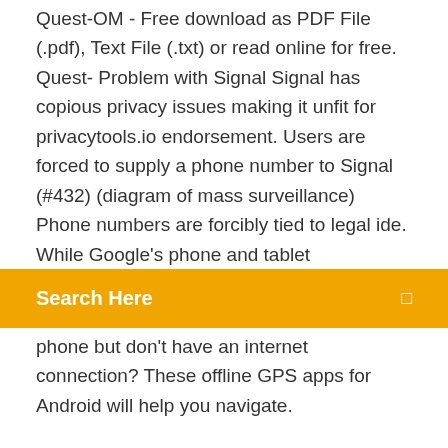Quest-OM - Free download as PDF File (.pdf), Text File (.txt) or read online for free. Quest- Problem with Signal Signal has copious privacy issues making it unfit for privacytools.io endorsement. Users are forced to supply a phone number to Signal (#432) (diagram of mass surveillance) Phone numbers are forcibly tied to legal ide. While Google's phone and tablet
[Figure (screenshot): Orange search bar with 'Search Here' text on left and a small icon on right]
phone but don't have an internet connection? These offline GPS apps for Android will help you navigate.
Download WhatsApp Messenger apk 2.19.360 for Android. Messaging friends with Simple. Personal. Real Time WhatsApp Messenger. Unlike Google-hosted private apps, the APKs are not hosted by Google Play. Instead, the EMM helps IT admins host APKs themselves, and helps protects self-hosted apps by ensuring they can only be installed when authorized by managed Google… Nationwide Coverage Map with service